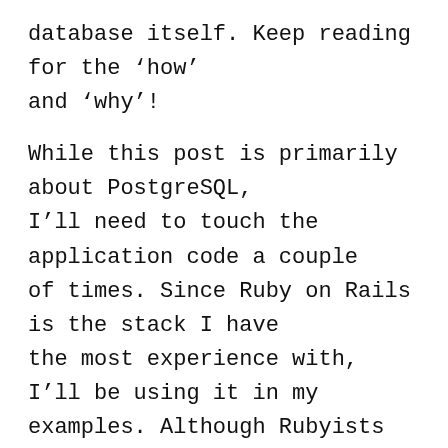database itself. Keep reading for the 'how' and 'why'!
While this post is primarily about PostgreSQL, I'll need to touch the application code a couple of times. Since Ruby on Rails is the stack I have the most experience with, I'll be using it in my examples. Although Rubyists might have extra appreciation for this article, but let's emphasize up front that the final solution will be completely in SQL.
Up first, let's talk about deletion itself, and we'll